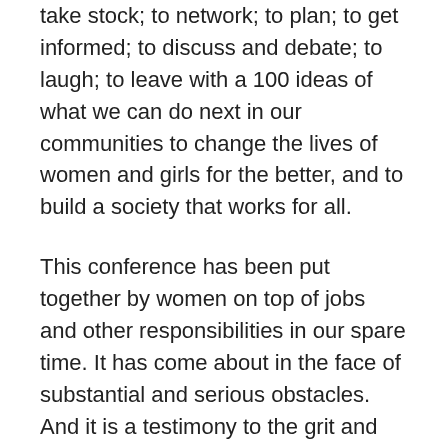take stock; to network; to plan; to get informed; to discuss and debate; to laugh; to leave with a 100 ideas of what we can do next in our communities to change the lives of women and girls for the better, and to build a society that works for all.
This conference has been put together by women on top of jobs and other responsibilities in our spare time. It has come about in the face of substantial and serious obstacles. And it is a testimony to the grit and determination of the women involved in organising that we are here at all today.
I want to thank those women in particular. You have shown a steel that does this movement proud.
It has come together because all of you have made it